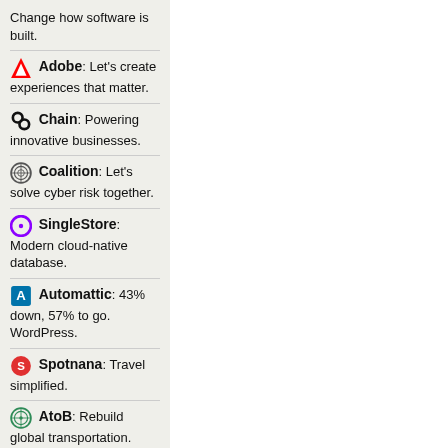Change how software is built.
Adobe: Let's create experiences that matter.
Chain: Powering innovative businesses.
Coalition: Let's solve cyber risk together.
SingleStore: Modern cloud-native database.
Automattic: 43% down, 57% to go. WordPress.
Spotnana: Travel simplified.
AtoB: Rebuild global transportation.